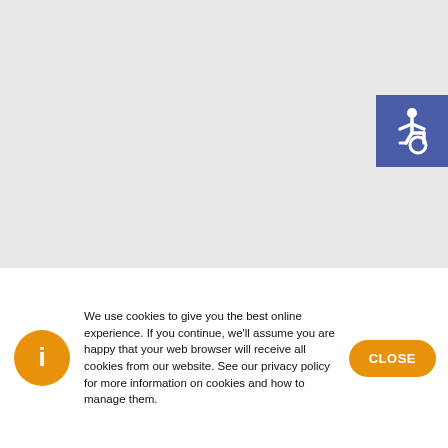Careers
About Us
Why Experior
News
Featured
Education
Get a Quote
Contact Us
[Figure (illustration): Accessibility icon - white wheelchair symbol on blue/indigo square background]
We use cookies to give you the best online experience. If you continue, we’ll assume you are happy that your web browser will receive all cookies from our website. See our privacy policy for more information on cookies and how to manage them.